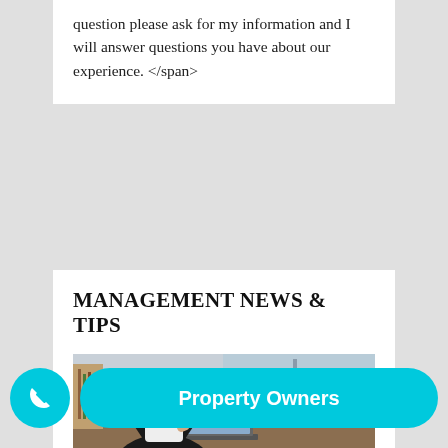question please ask for my information and I will answer questions you have about our experience. </span>
MANAGEMENT NEWS & TIPS
[Figure (photo): A man in a black suit sitting at a desk, talking on a mobile phone while using a laptop, with an office window and blurred background behind him.]
How ... Issues at Your Portland Rental